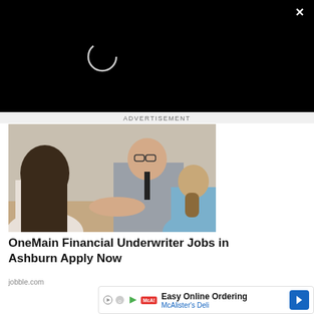[Figure (screenshot): Black background with a circular spinner/loading indicator in white outline at upper left area, and a white X close button at top right corner]
ADVERTISEMENT
[Figure (photo): Business meeting photo showing a man in a suit and glasses smiling and shaking hands with someone across a desk, with a woman with a ponytail viewed from behind on the right side]
OneMain Financial Underwriter Jobs in Ashburn Apply Now
jobble.com
[Figure (screenshot): Bottom ad bar showing McAlister's Deli advertisement with text 'Easy Online Ordering' and 'McAlister's Deli', blue navigation arrow icon on right, play button and outbrain icons on left]